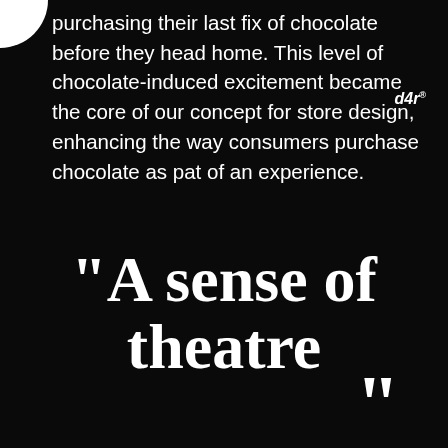[Figure (logo): Partial white circle at top-left corner]
purchasing their last fix of chocolate before they head home. This level of chocolate-induced excitement became the core of our concept for store design, enhancing the way consumers purchase chocolate as pat of an experience.
[Figure (logo): d4r logo with registered mark, italic style, top-right area]
“A sense of theatre”